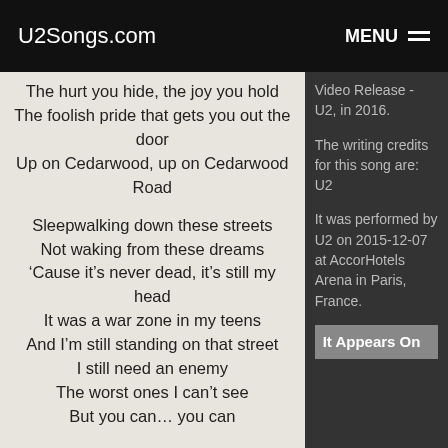U2Songs.com   MENU
The hurt you hide, the joy you hold
The foolish pride that gets you out the door
Up on Cedarwood, up on Cedarwood Road
Sleepwalking down these streets
Not waking from these dreams
‘Cause it’s never dead, it’s still my head
It was a war zone in my teens
And I’m still standing on that street
I still need an enemy
The worst ones I can’t see
But you can… you can
Oh Northside, just across the river from the Southside
And that’s a long way here
Video Release - U2, in 2016.
The writing credits for this song are: U2
It was performed by U2 on 2015-12-07 at AccorHotels Arena in Paris, France.
It Appears On